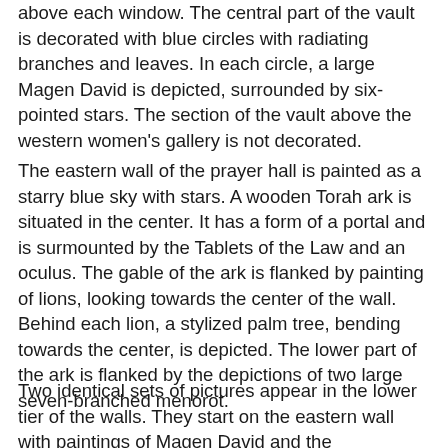above each window. The central part of the vault is decorated with blue circles with radiating branches and leaves. In each circle, a large Magen David is depicted, surrounded by six-pointed stars. The section of the vault above the western women's gallery is not decorated.
The eastern wall of the prayer hall is painted as a starry blue sky with stars. A wooden Torah ark is situated in the center. It has a form of a portal and is surmounted by the Tablets of the Law and an oculus. The gable of the ark is flanked by painting of lions, looking towards the center of the wall. Behind each lion, a stylized palm tree, bending towards the center, is depicted. The lower part of the ark is flanked by the depictions of two large seven-branched menorot.
Two identical sets of pictures appear in the lower tier of the walls. They start on the eastern wall with paintings of Magen David and the